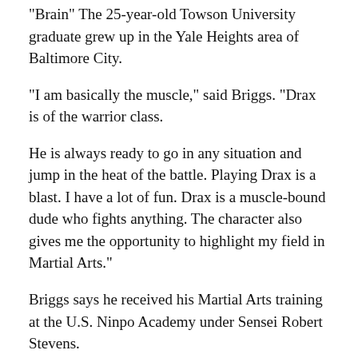"Brain" The 25-year-old Towson University graduate grew up in the Yale Heights area of Baltimore City.
"I am basically the muscle," said Briggs. "Drax is of the warrior class.
He is always ready to go in any situation and jump in the heat of the battle. Playing Drax is a blast. I have a lot of fun. Drax is a muscle-bound dude who fights anything. The character also gives me the opportunity to highlight my field in Martial Arts."
Briggs says he received his Martial Arts training at the U.S. Ninpo Academy under Sensei Robert Stevens.
"Growing up, Martial Arts was always a part of my life," said Briggs who is 2nd Degree Black Belt. I also did some acting and stunt gigs."